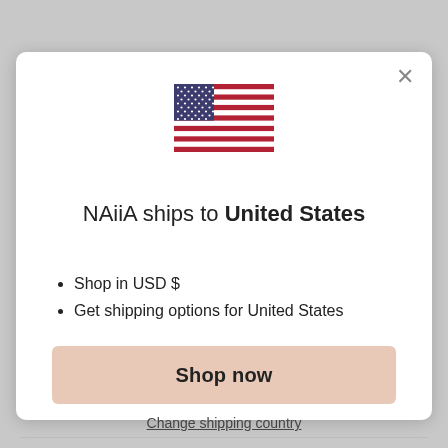[Figure (illustration): US flag emoji/icon centered in modal]
NAiiA ships to United States
Shop in USD $
Get shipping options for United States
Shop now
Change shipping country